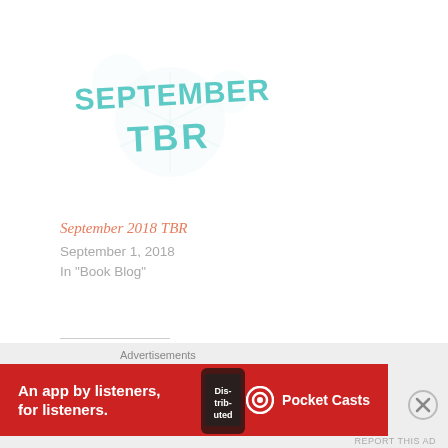[Figure (illustration): Teal/turquoise decorative lettering spelling 'SEPTEMBER TBR' with snowflake/floral decorative elements behind it]
September 2018 TBR
September 1, 2018
In "Book Blog"
Share this:
Twitter  Facebook
Like this:
Advertisements
[Figure (other): Pocket Casts advertisement banner: red background with phone showing 'Distributed' app, text 'An app by listeners, for listeners.' and Pocket Casts logo]